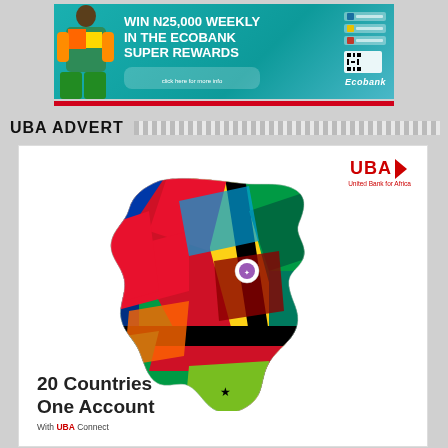[Figure (illustration): Ecobank banner advertisement: teal/turquoise background with a person in colorful clothing, text 'WIN N25,000 WEEKLY IN THE ECOBANK SUPER REWARDS', Ecobank logo on right side with app icons]
UBA ADVERT
[Figure (illustration): UBA advertisement card with UBA logo (red) top right, colorful Africa map made of African flag colors and patterns in center, text '20 Countries One Account With UBA Connect' at bottom left]